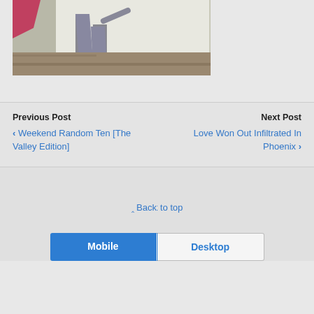[Figure (photo): A person walking on a concrete floor near white fabric/tent backdrop, wearing grey pants and dark shoes. A red/pink flag or object is visible in the upper left corner.]
Previous Post
< Weekend Random Ten [The Valley Edition]
Next Post
Love Won Out Infiltrated In Phoenix >
Back to top
Mobile  Desktop